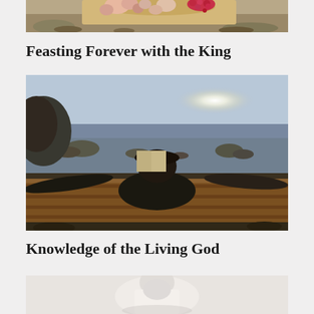[Figure (photo): Partial view of a food/floral arrangement — flowers including pink and red berries visible at top of image, cropped]
Feasting Forever with the King
[Figure (photo): Person lying in a hammock reading a book, viewed from behind, overlooking a scenic landscape with water/lake in background and bright sun on horizon]
Knowledge of the Living God
[Figure (photo): Partial view of a photo at bottom — light-colored background, partially visible, appears to show a person in white clothing]